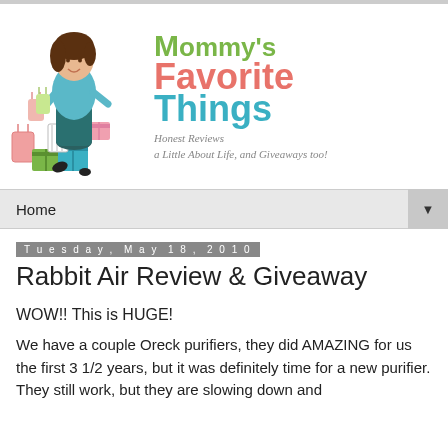[Figure (logo): Mommy's Favorite Things blog logo with illustrated woman sitting on gift boxes holding shopping bags, and stylized text reading Mommy's Favorite Things with tagline 'Honest Reviews a Little About Life, and Giveaways too!']
Home
Tuesday, May 18, 2010
Rabbit Air Review & Giveaway
WOW!! This is HUGE!
We have a couple Oreck purifiers, they did AMAZING for us the first 3 1/2 years, but it was definitely time for a new purifier. They still work, but they are slowing down and